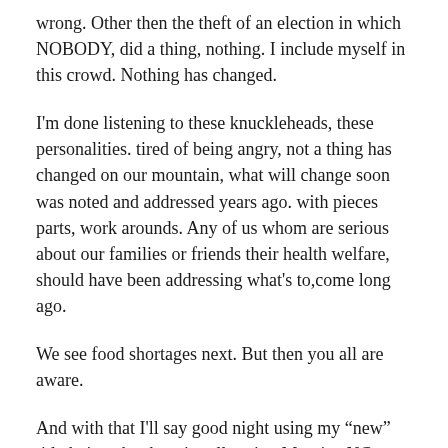wrong. Other then the theft of an election in which NOBODY, did a thing, nothing. I include myself in this crowd. Nothing has changed.
I'm done listening to these knuckleheads, these personalities. tired of being angry, not a thing has changed on our mountain, what will change soon was noted and addressed years ago. with pieces parts, work arounds. Any of us whom are serious about our families or friends their health welfare, should have been addressing what's to,come long ago.
We see food shortages next. But then you all are aware.
And with that I'll say good night using my “new” titled given by the wise all seeing Marxist, NC Scout!